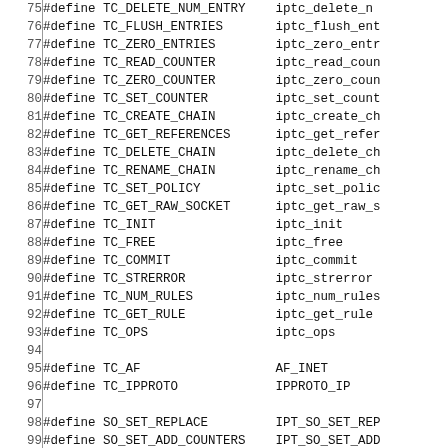| line | code |
| --- | --- |
| 75 | #define TC_DELETE_NUM_ENTRY    iptc_delete_n |
| 76 | #define TC_FLUSH_ENTRIES       iptc_flush_ent |
| 77 | #define TC_ZERO_ENTRIES        iptc_zero_entr |
| 78 | #define TC_READ_COUNTER        iptc_read_coun |
| 79 | #define TC_ZERO_COUNTER        iptc_zero_coun |
| 80 | #define TC_SET_COUNTER         iptc_set_count |
| 81 | #define TC_CREATE_CHAIN        iptc_create_ch |
| 82 | #define TC_GET_REFERENCES      iptc_get_refer |
| 83 | #define TC_DELETE_CHAIN        iptc_delete_ch |
| 84 | #define TC_RENAME_CHAIN        iptc_rename_ch |
| 85 | #define TC_SET_POLICY          iptc_set_polic |
| 86 | #define TC_GET_RAW_SOCKET      iptc_get_raw_s |
| 87 | #define TC_INIT                iptc_init |
| 88 | #define TC_FREE                iptc_free |
| 89 | #define TC_COMMIT              iptc_commit |
| 90 | #define TC_STRERROR            iptc_strerror |
| 91 | #define TC_NUM_RULES           iptc_num_rules |
| 92 | #define TC_GET_RULE            iptc_get_rule |
| 93 | #define TC_OPS                 iptc_ops |
| 94 |  |
| 95 | #define TC_AF                  AF_INET |
| 96 | #define TC_IPPROTO             IPPROTO_IP |
| 97 |  |
| 98 | #define SO_SET_REPLACE         IPT_SO_SET_REP |
| 99 | #define SO_SET_ADD_COUNTERS    IPT_SO_SET_ADD |
| 100 | #define SO_GET_INFO           IPT_SO_GET_INF |
| 101 | #define SO_GET_ENTRIES        IPT_SO_GET_ENT |
| 102 | #define SO_GET_VERSION        IPT_SO_GET_VER |
| 103 |  |
| 104 | #define STANDARD_TARGET       XT_STANDARD_TA |
| 105 | #define LABEL_RETURN          IPTC_LABEL_RET |